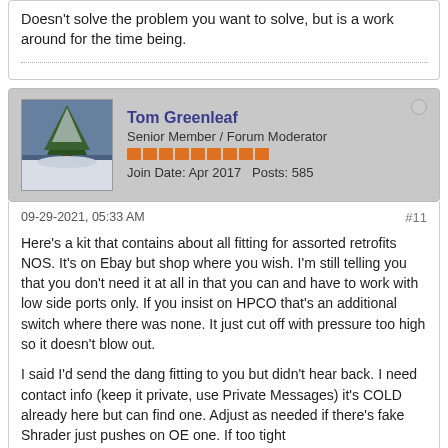Doesn't solve the problem you want to solve, but is a work around for the time being.
Tom Greenleaf
Senior Member / Forum Moderator
Join Date: Apr 2017   Posts: 585
09-29-2021, 05:33 AM
#11
Here's a kit that contains about all fitting for assorted retrofits NOS. It's on Ebay but shop where you wish. I'm still telling you that you don't need it at all in that you can and have to work with low side ports only. If you insist on HPCO that's an additional switch where there was none. It just cut off with pressure too high so it doesn't blow out.
I said I'd send the dang fitting to you but didn't hear back. I need contact info (keep it private, use Private Messages) it's COLD already here but can find one. Adjust as needed if there's fake Shrader just pushes on OE one. If too tight